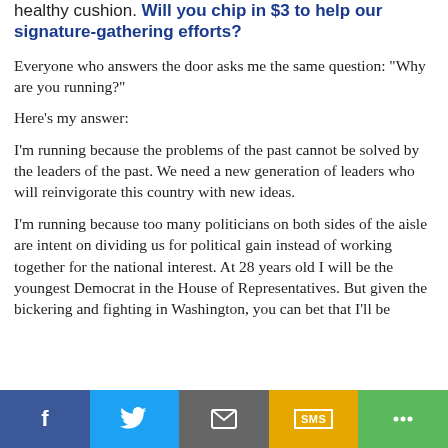healthy cushion. Will you chip in $3 to help our signature-gathering efforts?
Everyone who answers the door asks me the same question: "Why are you running?"
Here's my answer:
I'm running because the problems of the past cannot be solved by the leaders of the past. We need a new generation of leaders who will reinvigorate this country with new ideas.
I'm running because too many politicians on both sides of the aisle are intent on dividing us for political gain instead of working together for the national interest. At 28 years old I will be the youngest Democrat in the House of Representatives. But given the bickering and fighting in Washington, you can bet that I'll be
[Figure (infographic): Social sharing bar with Facebook (blue), Twitter (light blue), Email (gray), SMS (yellow/gold), and More/share (green) buttons]